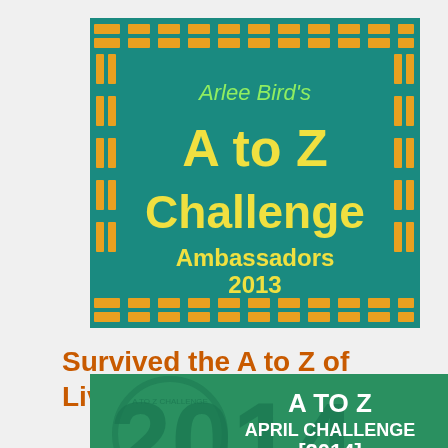[Figure (logo): Arlee Bird's A to Z Challenge Ambassadors 2013 badge with teal background and orange/yellow decorative border pattern with green and yellow text]
Survived the A to Z of Living Imperfectly
[Figure (logo): A to Z April Challenge [2014] Survivor badge with green background showing large 2014 text and A TO Z APRIL CHALLENGE [2014] SURVIVOR text in white]